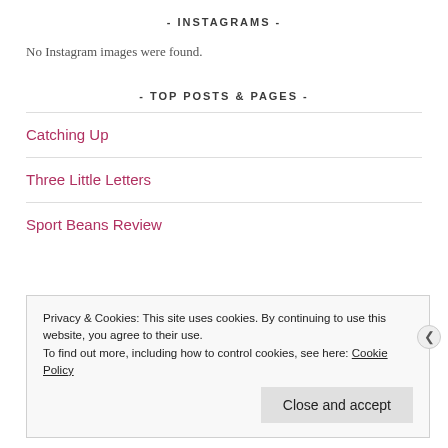- INSTAGRAMS -
No Instagram images were found.
- TOP POSTS & PAGES -
Catching Up
Three Little Letters
Sport Beans Review
Privacy & Cookies: This site uses cookies. By continuing to use this website, you agree to their use. To find out more, including how to control cookies, see here: Cookie Policy
Close and accept